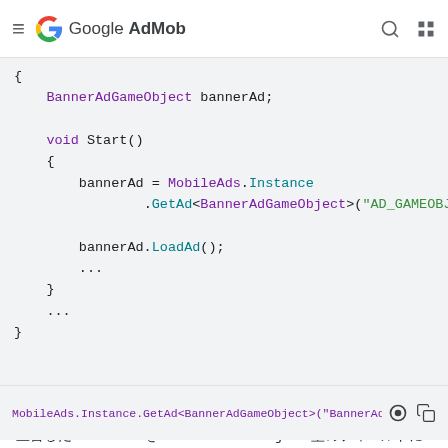Google AdMob
[Figure (screenshot): Code block showing C# code with BannerAdGameObject bannerAd declaration and void Start() method calling MobileAds.Instance.GetAd<BannerAdGameObject> and bannerAd.LoadAd()]
宣言した BannerAd を BannerAdGameObject 型のフィールドに設定します
MobileAds.Instance.GetAd<BannerAdGameObject>("BannerAd